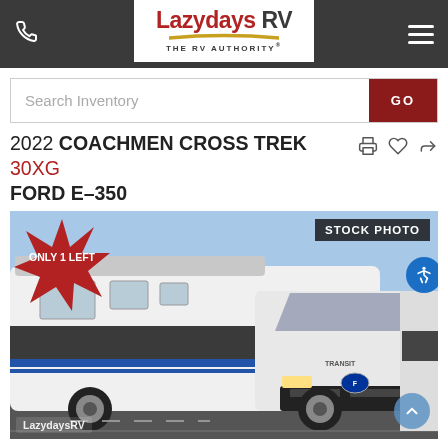Lazydays RV — THE RV AUTHORITY®
Search Inventory
2022 COACHMEN CROSS TREK 30XG FORD E-350
[Figure (photo): 2022 Coachmen Cross Trek 30XG Ford E-350 Class C motorhome, white with blue stripes, parked in a lot. Badge: ONLY 1 LEFT (starburst, red). Badge: STOCK PHOTO (top right). Lazydays RV watermark bottom left.]